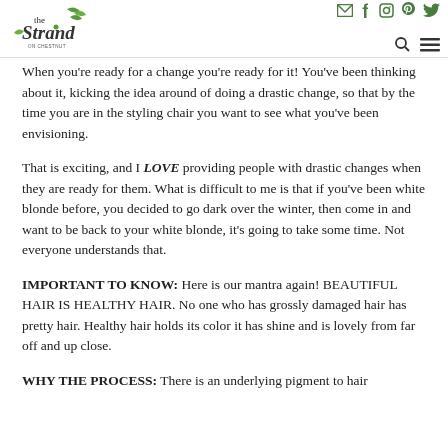the Strand [logo with social icons: email, facebook, instagram, pinterest, twitter, search, menu]
When you're ready for a change you're ready for it! You've been thinking about it, kicking the idea around of doing a drastic change, so that by the time you are in the styling chair you want to see what you've been envisioning.
That is exciting, and I LOVE providing people with drastic changes when they are ready for them. What is difficult to me is that if you've been white blonde before, you decided to go dark over the winter, then come in and want to be back to your white blonde, it's going to take some time. Not everyone understands that.
IMPORTANT TO KNOW: Here is our mantra again! BEAUTIFUL HAIR IS HEALTHY HAIR. No one who has grossly damaged hair has pretty hair. Healthy hair holds its color it has shine and is lovely from far off and up close.
WHY THE PROCESS: There is an underlying pigment to hair